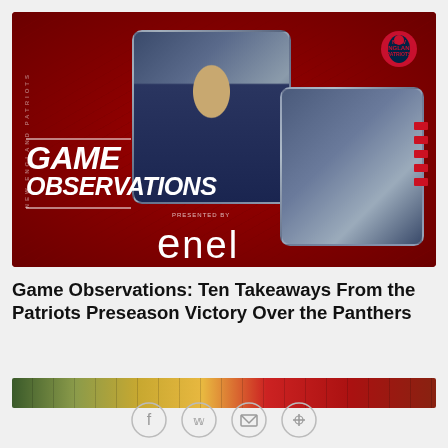[Figure (photo): New England Patriots Game Observations branded image on red background with two football action photos — left: quarterback throwing, right: two Patriots players celebrating — with text 'GAME OBSERVATIONS presented by enel' and Patriots logo in top-right corner]
Game Observations: Ten Takeaways From the Patriots Preseason Victory Over the Panthers
[Figure (photo): Bottom strip showing partial crowd/game photo]
[Figure (infographic): Social sharing icons: Facebook, Twitter, Email, Link]